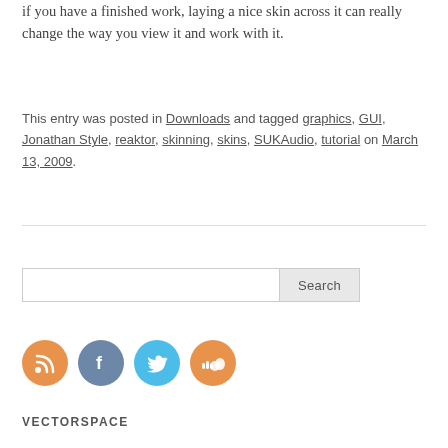if you have a finished work, laying a nice skin across it can really change the way you view it and work with it.
This entry was posted in Downloads and tagged graphics, GUI, Jonathan Style, reaktor, skinning, skins, SUKAudio, tutorial on March 13, 2009.
[Figure (other): Horizontal rule divider line]
[Figure (other): Search box with text input field and Search button]
[Figure (other): Social media icons: RSS (orange), Facebook (blue-grey), Twitter (light blue), SoundCloud (orange) — all circular]
VECTORSPACE